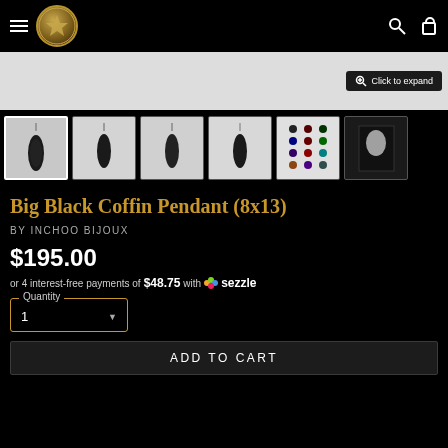Inchoo Bijoux - navigation header with logo, search and cart icons
[Figure (screenshot): Main product image area with light gray background and 'Click to expand' button in dark overlay]
[Figure (photo): Row of 6 product thumbnail images showing black coffin pendant from multiple angles, plus color chart and packaging]
Big Black Coffin Pendant (8x13)
BY INCHOO BIJOUX
$195.00
or 4 interest-free payments of $48.75 with Sezzle
Quantity
1
ADD TO CART